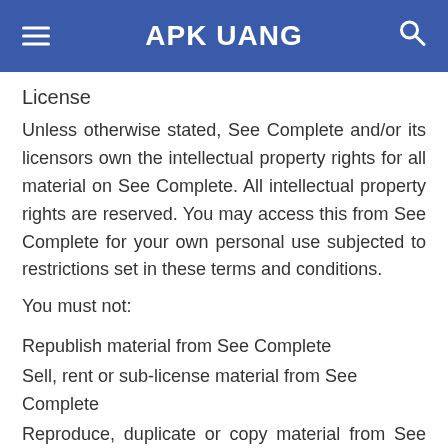APK UANG
License
Unless otherwise stated, See Complete and/or its licensors own the intellectual property rights for all material on See Complete. All intellectual property rights are reserved. You may access this from See Complete for your own personal use subjected to restrictions set in these terms and conditions.
You must not:
Republish material from See Complete
Sell, rent or sub-license material from See Complete
Reproduce, duplicate or copy material from See Complete